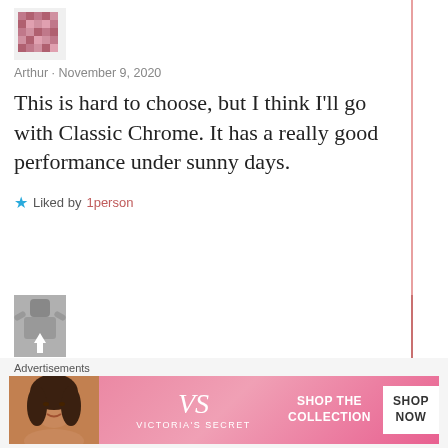[Figure (illustration): Pixelated/mosaic avatar icon for user Arthur]
Arthur · November 9, 2020
This is hard to choose, but I think I'll go with Classic Chrome. It has a really good performance under sunny days.
★ Liked by 1person
[Figure (photo): Avatar photo for Ritchie Roesch showing a person with arms raised]
Ritchie Roesch · November 10, 2020
Awesome!
★ Like
Advertisements
[Figure (illustration): Victoria's Secret advertisement banner with woman photo, VS logo, SHOP THE COLLECTION text, and SHOP NOW button]